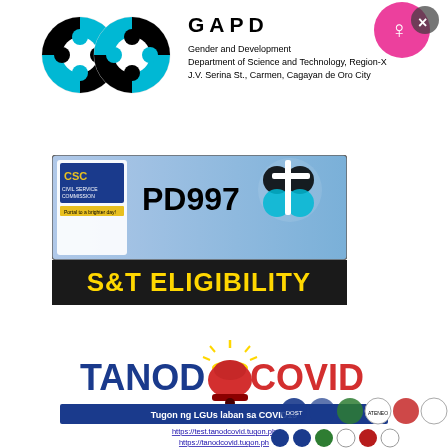[Figure (logo): GAD logos and DOST Region X header with organization name and address]
[Figure (logo): CSC PD997 S&T Eligibility banner with Civil Service Commission and DOST logos]
[Figure (logo): TANOD COVID logo with siren bell graphic, tagline banner, URLs, and partner organization logos]